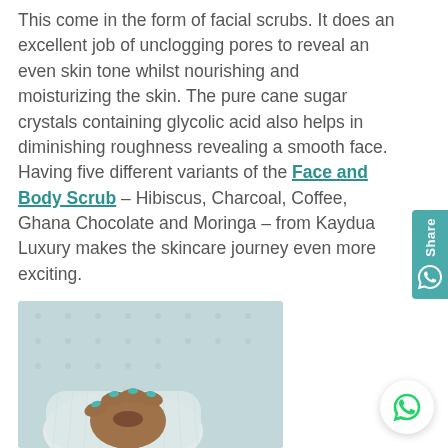This come in the form of facial scrubs. It does an excellent job of unclogging pores to reveal an even skin tone whilst nourishing and moisturizing the skin. The pure cane sugar crystals containing glycolic acid also helps in diminishing roughness revealing a smooth face. Having five different variants of the Face and Body Scrub – Hibiscus, Charcoal, Coffee, Ghana Chocolate and Moringa – from Kaydua Luxury makes the skincare journey even more exciting.
[Figure (photo): Photo of a hand (darker skin tone) holding or touching something, wearing a white ribbed long-sleeve top, with a blurred light blue/teal patterned background.]